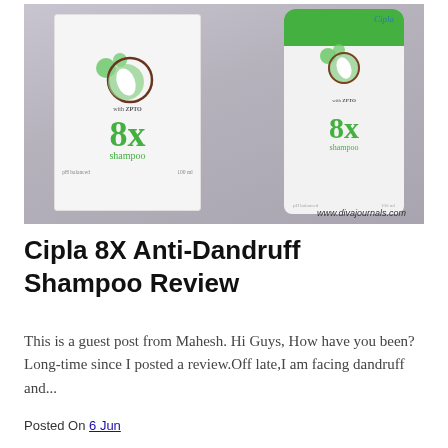[Figure (photo): Photo of Cipla 8X Anti-Dandruff Shampoo product box and bottle side by side. The box is white with green logo circles and ZPTO branding, showing '8x shampoo', pH balanced, 100 ml. The bottle is white with a green cap, showing the Cipla brand name, same 8x shampoo label. Watermark reads www.divajournals.com]
Cipla 8X Anti-Dandruff Shampoo Review
This is a guest post from Mahesh. Hi Guys, How have you been?Long-time since I posted a review.Off late,I am facing dandruff and...
Posted On 6 Jun